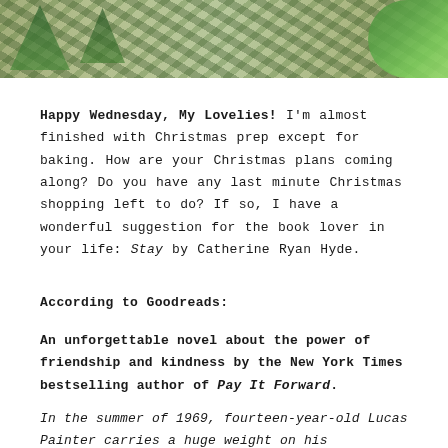[Figure (photo): A Christmas-themed photo showing wrapped gifts or fabric with pine tree patterns and holiday decorations, with green leafy plants visible on the right edge.]
Happy Wednesday, My Lovelies!  I'm almost finished with Christmas prep except for baking.  How are your Christmas plans coming along?  Do you have any last minute Christmas shopping left to do?  If so, I have a wonderful suggestion for the book lover in your life:  Stay by Catherine Ryan Hyde.
According to Goodreads:
An unforgettable novel about the power of friendship and kindness by the New York Times bestselling author of Pay It Forward.
In the summer of 1969, fourteen-year-old Lucas Painter carries a huge weight on his shoulders. His brother is fighting in Vietnam.